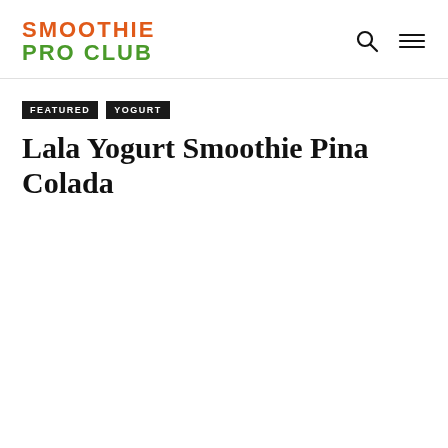SMOOTHIE PRO CLUB
FEATURED   YOGURT
Lala Yogurt Smoothie Pina Colada